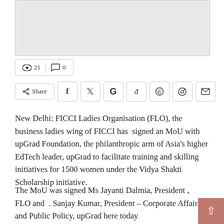[Figure (photo): Placeholder image area with light gray background]
👁 21  💬 0
Share | f | t | G | reddit | whatsapp | pinterest | mail
New Delhi: FICCI Ladies Organisation (FLO), the business ladies wing of FICCI has signed an MoU with upGrad Foundation, the philanthropic arm of Asia's higher EdTech leader, upGrad to facilitate training and skilling initiatives for 1500 women under the Vidya Shakti Scholarship initiative.
The MoU was signed Ms Jayanti Dalmia, President , FLO and . Sanjay Kumar, President – Corporate Affairs and Public Policy, upGrad here today